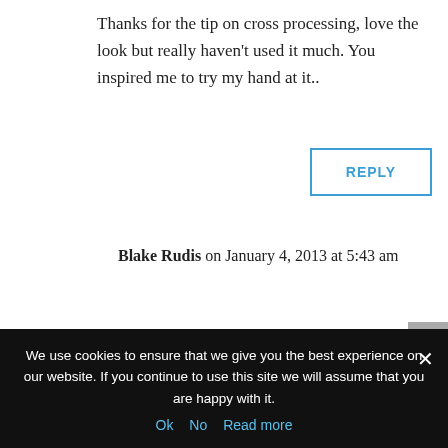Thanks for the tip on cross processing, love the look but really haven’t used it much. You inspired me to try my hand at it..
REPLY
Blake Rudis on January 4, 2013 at 5:43 am
Awesome! That is what I had hoped for! Inspiration is everything!
We use cookies to ensure that we give you the best experience on our website. If you continue to use this site we will assume that you are happy with it.
Ok   No   Read more